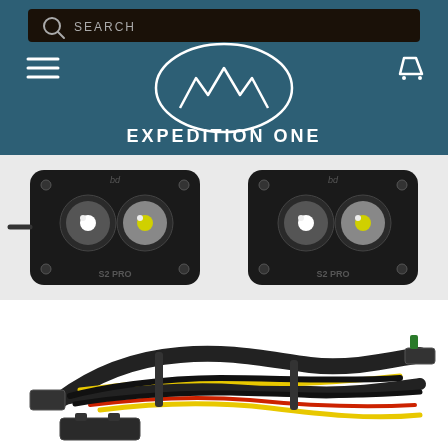[Figure (screenshot): Website header with dark teal background showing a search bar at top, hamburger menu icon on left, shopping cart icon on right, and Expedition One logo (mountain peaks inside an oval) with brand name text below in white.]
[Figure (photo): Two Baja Designs S2 Pro LED auxiliary lights shown side by side on a light gray background. Both are flush-mount style black rectangular units with two circular LED lenses each.]
[Figure (photo): Wiring harness bundle with black, yellow, and red wires, connectors, and cable ties shown on a white background.]